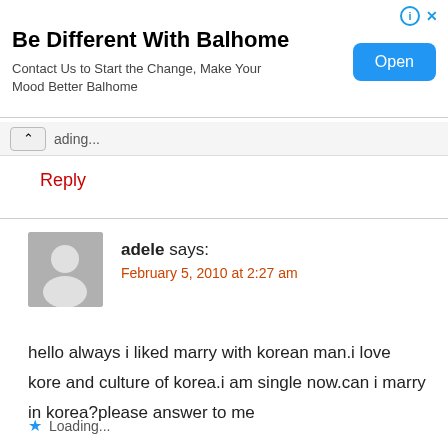[Figure (infographic): Advertisement banner for Balhome with title, subtitle, and Open button]
Be Different With Balhome
Contact Us to Start the Change, Make Your Mood Better Balhome
ading...
Reply
adele says:
February 5, 2010 at 2:27 am
hello always i liked marry with korean man.i love kore and culture of korea.i am single now.can i marry in korea?please answer to me
Loading...